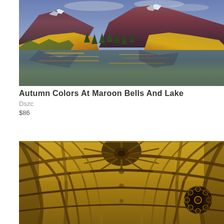[Figure (photo): Aerial landscape photo of Maroon Bells and Maroon Lake in autumn, showing snow-capped maroon/purple mountain peaks, golden yellow and orange aspen trees on the slopes, dark green pine trees, and a calm lake reflecting the mountains and colorful foliage. Dramatic sky with clouds visible at the top.]
Autumn Colors At Maroon Bells And Lake
Dszc
$86
[Figure (photo): Interior photo of a gothic cathedral looking straight up at the vaulted ceiling. The ceiling features intricate ribbed vaulting in golden/amber tones with ornate stone carvings. A rose window with circular Gothic tracery is visible on the right side. The perspective runs along the nave toward the altar, showing repeating arched bays.]